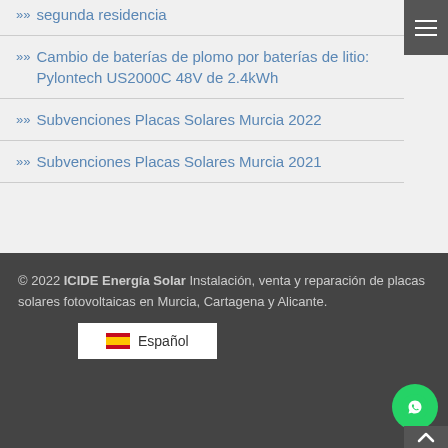Autoconsumo con baterías en segunda residencia
Cambio de baterías de plomo por baterías de litio: Pylontech US2000C 48V de 2.4kWh
Subvenciones Placas Solares Murcia 2022
Subvenciones Placas Solares Murcia 2021
© 2022 ICIDE Energía Solar Instalación, venta y reparación de placas solares fotovoltaicas en Murcia, Cartagena y Alicante.
Español